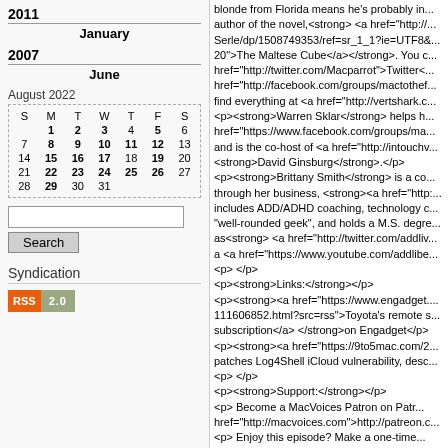2011
January
2007
June
| S | M | T | W | T | F | S |
| --- | --- | --- | --- | --- | --- | --- |
|  | 1 | 2 | 3 | 4 | 5 | 6 |
| 7 | 8 | 9 | 10 | 11 | 12 | 13 |
| 14 | 15 | 16 | 17 | 18 | 19 | 20 |
| 21 | 22 | 23 | 24 | 25 | 26 | 27 |
| 28 | 29 | 30 | 31 |  |  |  |
Search
Syndication
RSS 2.0
blonde from Florida means he's probably in... author of the novel,<strong> <a href="http://...Serle/dp/1508749353/ref=sr_1_1?ie=UTF8&...20">The Maltese Cube</a></strong>. You c... href="http://twitter.com/Macparrot">Twitter<... href="http://facebook.com/groups/mactothef... find everything at <a href="http://vertshark.c... <p><strong>Warren Sklar</strong> helps h... href="https://www.facebook.com/groups/ma... and is the co-host of <a href="http://intouchv... <strong>David Ginsburg</strong>.</p> <p><strong>Brittany Smith</strong> is a co... through her business, <strong><a href="http:... includes ADD/ADHD coaching, technology c... "well-rounded geek", and holds a M.S. degre... as<strong> <a href="http://twitter.com/addliv... a <a href="https://www.youtube.com/addlibe... <p> </p> <p><strong>Links:</strong></p> <p><strong><a href="https://www.engadget.... 111606852.html?src=rss">Toyota's remote s... subscription</a> </strong>on Engadget</p> <p><strong><a href="https://9to5mac.com/2... patches Log4Shell iCloud vulnerability, desc... <p> </p> <p><strong>Support:</strong></p> <p>    Become a MacVoices Patron on Patr... href="http://macvoices.com">http://patreon.c... <p>    Enjoy this episode? Make a one-time... cmd=_donations&business=VJKN3V6NK7H... <p><strong>Connect:</strong></p> <p>    Web:<br />    <a href="http://macvoi... <p>    Twitter:<br />    <a href="http://www.t...  <a href="http://www.twitter.com/macvoices"... <p>    Facebook:<br />    <a href="http://www.facebook.com/chuck.joine... <p>    MacVoices Page on Facebook:<br />... href="http://www.facebook.com/macvoices"...